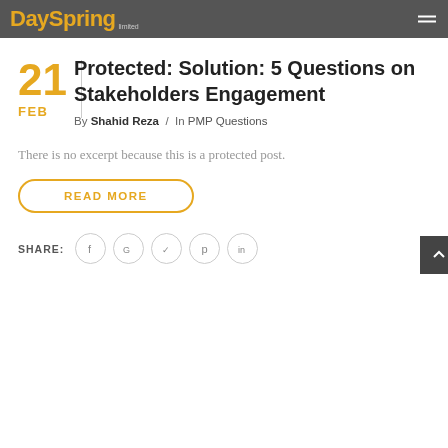DaySpring
21
FEB
Protected: Solution: 5 Questions on Stakeholders Engagement
By Shahid Reza / In PMP Questions
There is no excerpt because this is a protected post.
READ MORE
SHARE: